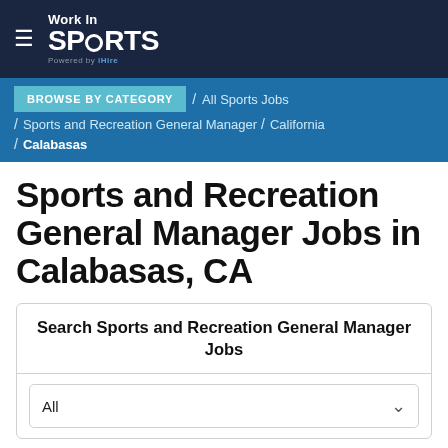Work In SPORTS — Powered by iHire
BROWSE BY CATEGORY / All Sports Jobs / Sports and Recreation General Manager / California / Calabasas
Sports and Recreation General Manager Jobs in Calabasas, CA
Search Sports and Recreation General Manager Jobs
All